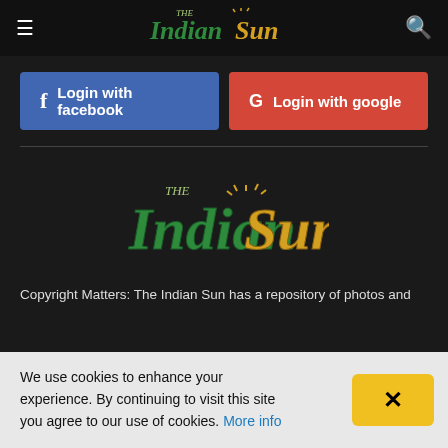[Figure (logo): The Indian Sun newspaper logo with green and gold text in header navigation bar]
Login with facebook
Login with google
[Figure (logo): The Indian Sun newspaper logo, large centered version with green and gold decorative text]
Copyright Matters: The Indian Sun has a repository of photos and
We use cookies to enhance your experience. By continuing to visit this site you agree to our use of cookies. More info